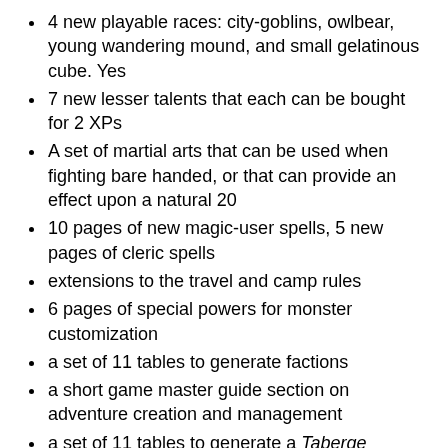4 new playable races: city-goblins, owlbear, young wandering mound, and small gelatinous cube. Yes
7 new lesser talents that each can be bought for 2 XPs
A set of martial arts that can be used when fighting bare handed, or that can provide an effect upon a natural 20
10 pages of new magic-user spells, 5 new pages of cleric spells
extensions to the travel and camp rules
6 pages of special powers for monster customization
a set of 11 tables to generate factions
a short game master guide section on adventure creation and management
a set of 11 tables to generate a Taberge (Taverne + Auberge, an inn)
a set of 10 tables to generate a ruin
In October 2020, John Grümph released a Patreon-only 87 page supplement porting Earthdawn to